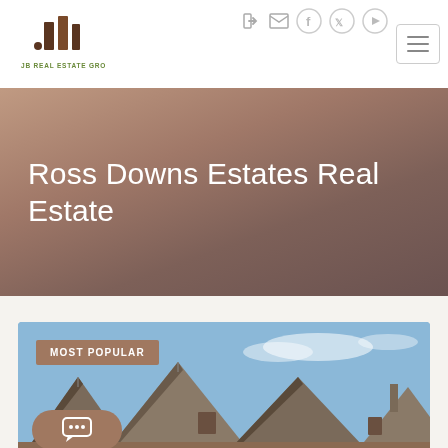[Figure (logo): JB Real Estate Group logo — stylized brown building icon above text 'JB REAL ESTATE GROUP']
[Figure (screenshot): Navigation icons: login arrow, mail envelope, Facebook circle, Twitter circle, YouTube circle]
[Figure (screenshot): Hamburger menu button with three horizontal lines]
Ross Downs Estates Real Estate
[Figure (photo): Rooftops of suburban brick houses against a blue sky with light clouds — property listing photo for Ross Downs Estates Real Estate]
MOST POPULAR
[Figure (other): Chat bubble icon button in brownish oval shape at bottom-left of property card]